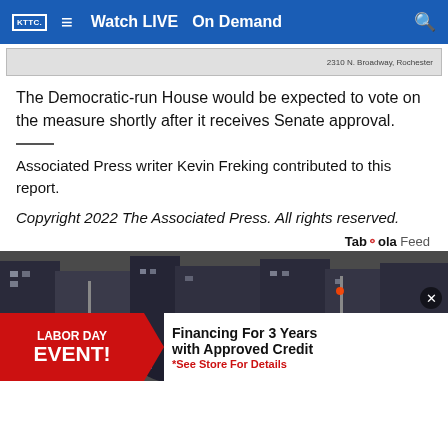KTTC  Watch LIVE  On Demand
[Figure (photo): Partial advertisement banner showing '2310 N. Broadway, Rochester']
The Democratic-run House would be expected to vote on the measure shortly after it receives Senate approval.
Associated Press writer Kevin Freking contributed to this report.
Copyright 2022 The Associated Press. All rights reserved.
Taboola Feed
[Figure (photo): Group of people standing on a city street. Overlaid advertisement: 'LABOR DAY EVENT! Financing For 3 Years with Approved Credit *See Store For Details']